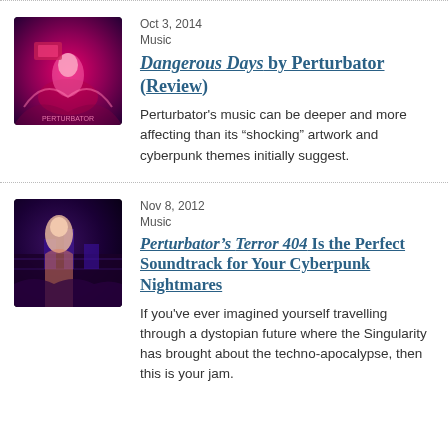[Figure (illustration): Album cover thumbnail for Dangerous Days by Perturbator - dark magenta/purple cyberpunk artwork with a figure]
Oct 3, 2014
Music
Dangerous Days by Perturbator (Review)
Perturbator's music can be deeper and more affecting than its “shocking” artwork and cyberpunk themes initially suggest.
[Figure (illustration): Album cover thumbnail - dark blue/purple cyberpunk cityscape with a female figure]
Nov 8, 2012
Music
Perturbator’s Terror 404 Is the Perfect Soundtrack for Your Cyberpunk Nightmares
If you've ever imagined yourself travelling through a dystopian future where the Singularity has brought about the techno-apocalypse, then this is your jam.